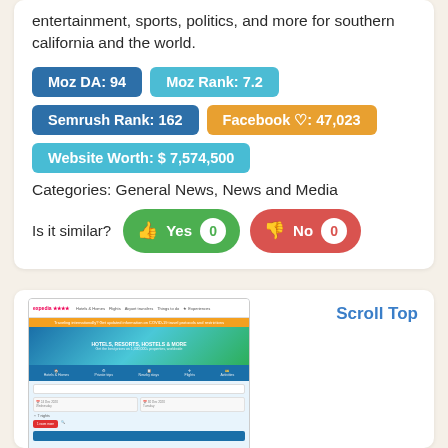entertainment, sports, politics, and more for southern california and the world.
Moz DA: 94 | Moz Rank: 7.2 | Semrush Rank: 162 | Facebook ♡: 47,023 | Website Worth: $ 7,574,500
Categories: General News, News and Media
Is it similar? Yes 0 No 0
[Figure (screenshot): Screenshot of a hotel booking website (Expedia-like) showing hotels, resorts, hostels search interface with navigation tabs and search fields. Scroll Top link visible in top right.]